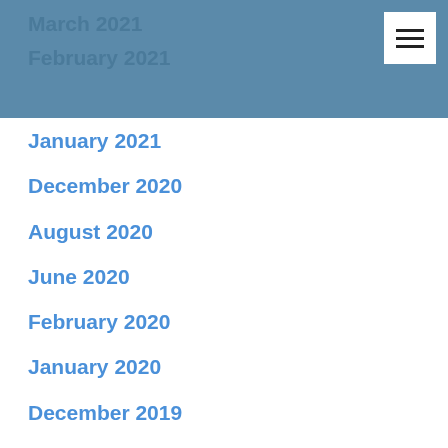March 2021
February 2021
January 2021
December 2020
August 2020
June 2020
February 2020
January 2020
December 2019
November 2019
October 2019
September 2019
July 2019